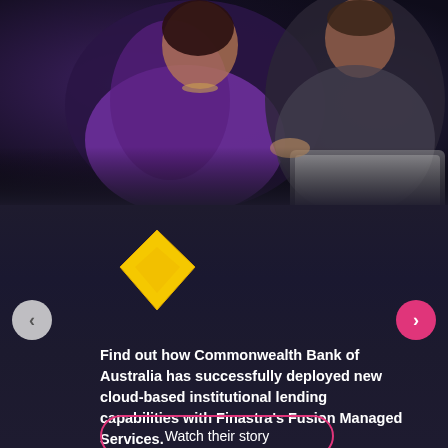[Figure (photo): Two people (a woman in purple and a man) looking at a laptop screen together in a dark setting.]
[Figure (logo): Commonwealth Bank of Australia yellow diamond logo]
Find out how Commonwealth Bank of Australia has successfully deployed new cloud-based institutional lending capabilities with Finastra’s Fusion Managed Services.
Watch their story